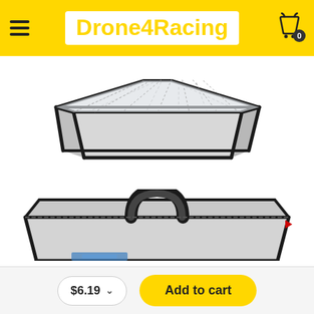Drone4Racing
[Figure (photo): LiPo battery safe bag shown open, rectangular box shape with transparent mesh top panel and silver/grey sides with black reinforced edges and corners, viewed from a 3/4 angle]
[Figure (photo): LiPo battery safe bag shown closed from above, silver/grey color with black handle on top, black reinforced edges, small red scroll indicator on right side, partial blue label visible at bottom]
$6.19
Add to cart